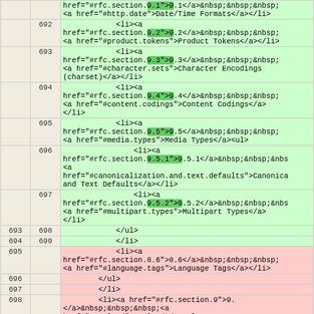| col1 | col2 | content |
| --- | --- | --- |
|  | 692 | <li><a href="#rfc.section.9.2">9.2</a>&nbsp;&nbsp;&nbsp;<a href="#product.tokens">Product Tokens</a></li> |
|  | 693 | <li><a href="#rfc.section.9.3">9.3</a>&nbsp;&nbsp;&nbsp;<a href="#character.sets">Character Encodings (charset)</a></li> |
|  | 694 | <li><a href="#rfc.section.9.4">9.4</a>&nbsp;&nbsp;&nbsp;<a href="#content.codings">Content Codings</a></li> |
|  | 695 | <li><a href="#rfc.section.9.5">9.5</a>&nbsp;&nbsp;&nbsp;<a href="#media.types">Media Types</a><ul> |
|  | 696 | <li><a href="#rfc.section.9.5.1">9.5.1</a>&nbsp;&nbsp;&nbs <a href="#canonicalization.and.text.defaults">Canonicalization and Text Defaults</a></li> |
|  | 697 | <li><a href="#rfc.section.9.5.2">9.5.2</a>&nbsp;&nbsp;&nbs <a href="#multipart.types">Multipart Types</a></li> |
| 693 | 698 | </ul> |
| 694 | 699 | </li> |
| 695 |  | <li><a href="#rfc.section.8.6">8.6</a>&nbsp;&nbsp;&nbsp;<a href="#language.tags">Language Tags</a></li> |
| 696 |  | </ul> |
| 697 |  | </li> |
| 698 |  | <li><a href="#rfc.section.9">9.</a>&nbsp;&nbsp;&nbsp;<a href="#payload">Payload</a><ul> |